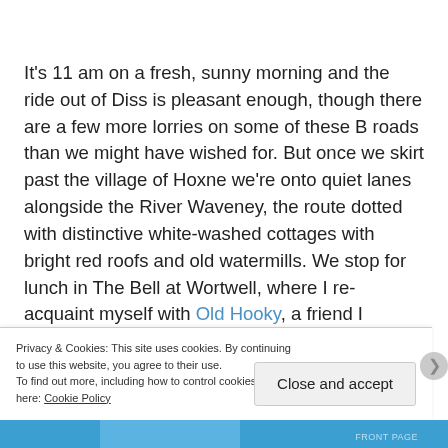It's 11 am on a fresh, sunny morning and the ride out of Diss is pleasant enough, though there are a few more lorries on some of these B roads than we might have wished for. But once we skirt past the village of Hoxne we're onto quiet lanes alongside the River Waveney, the route dotted with distinctive white-washed cottages with bright red roofs and old watermills. We stop for lunch in The Bell at Wortwell, where I re-acquaint myself with Old Hooky, a friend I haven't seen for some years. After lunch we're cruising on flat roads and arrive in Bungay way earlier than
Privacy & Cookies: This site uses cookies. By continuing to use this website, you agree to their use.
To find out more, including how to control cookies, see here: Cookie Policy
Close and accept